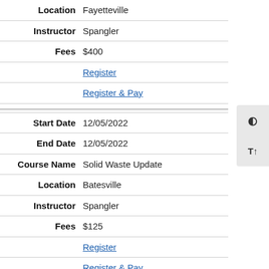| Field | Value |
| --- | --- |
| Location | Fayetteville |
| Instructor | Spangler |
| Fees | $400 |
|  | Register |
|  | Register & Pay |
| Start Date | 12/05/2022 |
| End Date | 12/05/2022 |
| Course Name | Solid Waste Update |
| Location | Batesville |
| Instructor | Spangler |
| Fees | $125 |
|  | Register |
|  | Register & Pay |
| Start Date | 12/06/2022 |